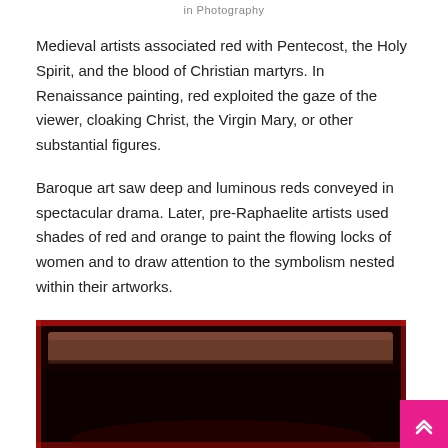in Photography
Medieval artists associated red with Pentecost, the Holy Spirit, and the blood of Christian martyrs. In Renaissance painting, red exploited the gaze of the viewer, cloaking Christ, the Virgin Mary, or other substantial figures.
Baroque art saw deep and luminous reds conveyed in spectacular drama. Later, pre-Raphaelite artists used shades of red and orange to paint the flowing locks of women and to draw attention to the symbolism nested within their artworks.
[Figure (photo): Abstract painting with deep dark reds and blacks, showing a rectangular composition with a lighter brownish-red bar near the top against a very dark background, glowing with red edges.]